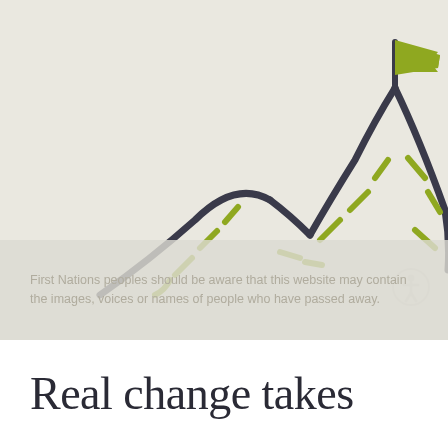[Figure (illustration): Line art illustration of two mountain peaks with dashed trail lines on a beige/cream background. The taller right mountain has a yellow-green flag at its summit on a pole. Both mountains are drawn in dark charcoal with olive/yellow-green dashed path lines indicating a climbing route up the peaks.]
First Nations peoples should be aware that this website may contain the images, voices or names of people who have passed away.
Real change takes